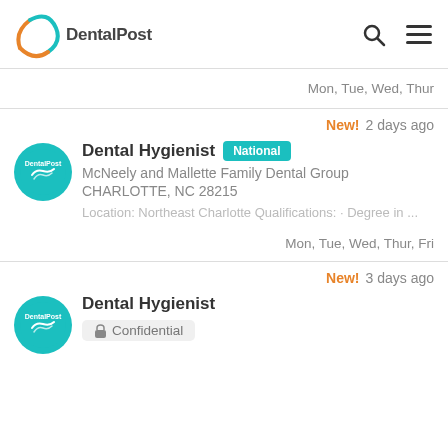DentalPost
Mon, Tue, Wed, Thur
New! 2 days ago
Dental Hygienist National
McNeely and Mallette Family Dental Group
CHARLOTTE, NC 28215
Location: Northeast Charlotte Qualifications: • Degree in ...
Mon, Tue, Wed, Thur, Fri
New! 3 days ago
Dental Hygienist
Confidential